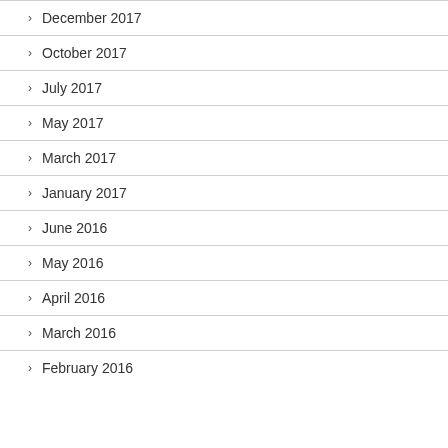December 2017
October 2017
July 2017
May 2017
March 2017
January 2017
June 2016
May 2016
April 2016
March 2016
February 2016